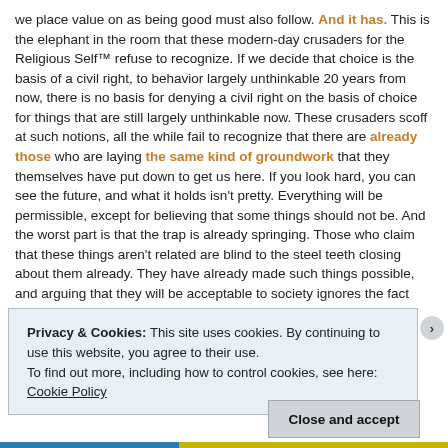we place value on as being good must also follow. And it has. This is the elephant in the room that these modern-day crusaders for the Religious Self™ refuse to recognize. If we decide that choice is the basis of a civil right, to behavior largely unthinkable 20 years from now, there is no basis for denying a civil right on the basis of choice for things that are still largely unthinkable now. These crusaders scoff at such notions, all the while fail to recognize that there are already those who are laying the same kind of groundwork that they themselves have put down to get us here. If you look hard, you can see the future, and what it holds isn't pretty. Everything will be permissible, except for believing that some things should not be. And the worst part is that the trap is already springing. Those who claim that these things aren't related are blind to the steel teeth closing about them already. They have already made such things possible, and arguing that they won't be acceptable to society ignores the fact that they already are.
Privacy & Cookies: This site uses cookies. By continuing to use this website, you agree to their use.
To find out more, including how to control cookies, see here: Cookie Policy